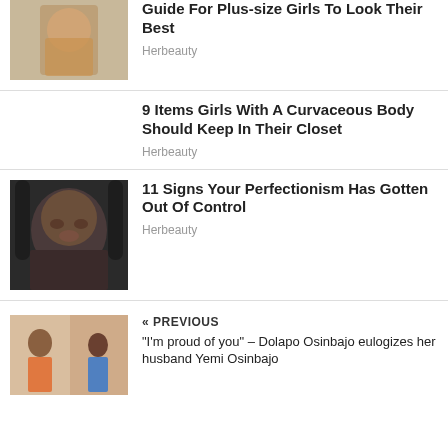[Figure (photo): Plus-size woman in gold bikini top posing]
Guide For Plus-size Girls To Look Their Best
Herbeauty
9 Items Girls With A Curvaceous Body Should Keep In Their Closet
Herbeauty
[Figure (photo): Child making a scrunched funny face]
11 Signs Your Perfectionism Has Gotten Out Of Control
Herbeauty
[Figure (photo): Previous article thumbnail showing people]
« PREVIOUS
“I’m proud of you” – Dolapo Osinbajo eulogizes her husband Yemi Osinbajo